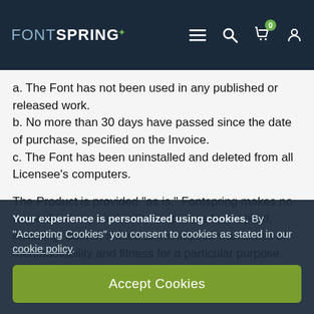FONTSPRING
a. The Font has not been used in any published or released work.
b. No more than 30 days have passed since the date of purchase, specified on the Invoice.
c. The Font has been uninstalled and deleted from all Licensee’s computers.
The Product is provided “as is.” Fontspring makes no warranty of any kind, either expressed or implied, including, but not limited to the implied warranties of merchantability and fitness for a particular purpose.
Your experience is personalized using cookies. By “Accepting Cookies” you consent to cookies as stated in our cookie policy.
Accept Cookies